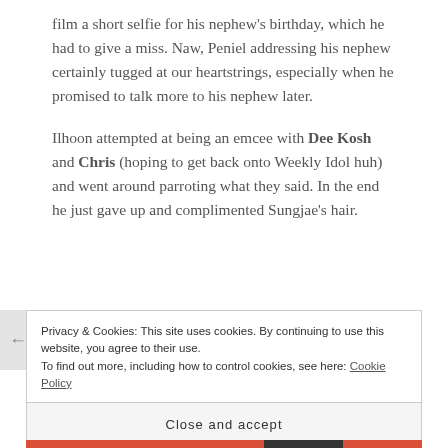film a short selfie for his nephew's birthday, which he had to give a miss. Naw, Peniel addressing his nephew certainly tugged at our heartstrings, especially when he promised to talk more to his nephew later.
Ilhoon attempted at being an emcee with Dee Kosh and Chris (hoping to get back onto Weekly Idol huh) and went around parroting what they said. In the end he just gave up and complimented Sungjae's hair.
Privacy & Cookies: This site uses cookies. By continuing to use this website, you agree to their use. To find out more, including how to control cookies, see here: Cookie Policy
Close and accept